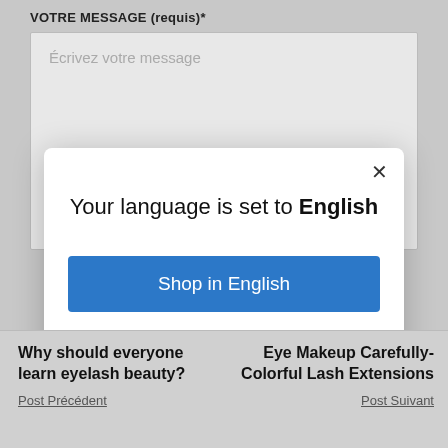VOTRE MESSAGE (requis)*
[Figure (screenshot): A text area input box with placeholder text 'Écrivez votre message']
[Figure (screenshot): A modal dialog with close button (×), heading 'Your language is set to English', a blue 'Shop in English' button, and an underlined 'Change language' link]
Why should everyone learn eyelash beauty?
Post Précédent
Eye Makeup Carefully-Colorful Lash Extensions
Post Suivant